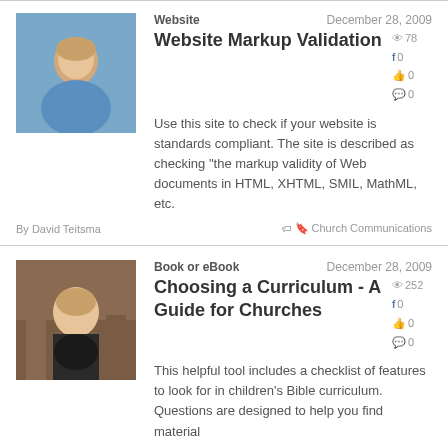[Figure (photo): Profile photo of a man with short hair wearing a blue shirt, light blue background]
Website
December 28, 2009
Website Markup Validation
👁 78
f 0
👍 0
💬 0
Use this site to check if your website is standards compliant. The site is described as checking "the markup validity of Web documents in HTML, XHTML, SMIL, MathML, etc.
By David Teitsma
Church Communications
[Figure (photo): Profile photo of a woman with short brown hair, smiling, brick background]
Book or eBook
December 28, 2009
Choosing a Curriculum - A Guide for Churches
👁 252
f 0
👍 0
💬 0
This helpful tool includes a checklist of features to look for in children's Bible curriculum. Questions are designed to help you find material